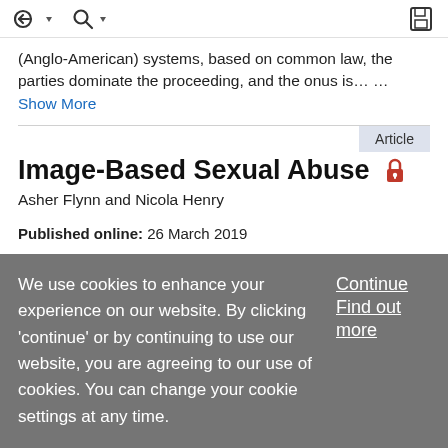toolbar with navigation and search icons
(Anglo-American) systems, based on common law, the parties dominate the proceeding, and the onus is… … Show More
Article
Image-Based Sexual Abuse
Asher Flynn and Nicola Henry
Published online: 26 March 2019
Subjects:
Race, Ethnicity, and Crime, Victimology/Criminal Victimization
We use cookies to enhance your experience on our website. By clicking 'continue' or by continuing to use our website, you are agreeing to our use of cookies. You can change your cookie settings at any time.